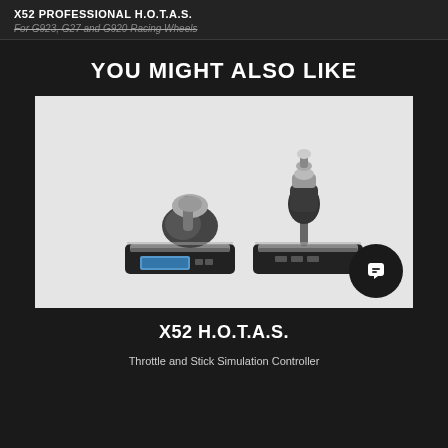X52 PROFESSIONAL H.O.T.A.S.
For G923, G27 and G920 Racing Wheels
YOU MIGHT ALSO LIKE
[Figure (photo): X52 H.O.T.A.S. Throttle and Stick Simulation Controller product photo on light grey background, showing the throttle unit on the left and the joystick unit on the right, both in black and silver colors. A chat bubble icon appears in the bottom-right corner of the image.]
X52 H.O.T.A.S.
Throttle and Stick Simulation Controller